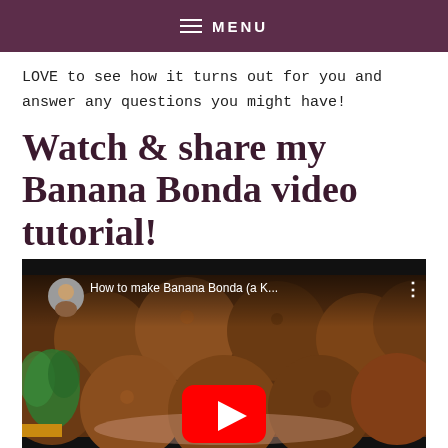MENU
LOVE to see how it turns out for you and answer any questions you might have!
Watch & share my Banana Bonda video tutorial!
[Figure (screenshot): YouTube video thumbnail showing Banana Bonda fried balls with title 'How to make Banana Bonda (a K…' and a red YouTube play button in the center.]